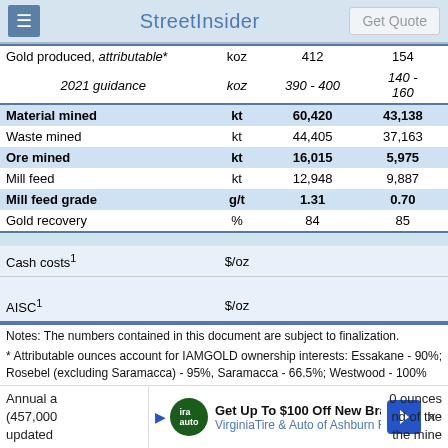StreetInsider
|  |  |  |  |
| --- | --- | --- | --- |
| Gold produced, attributable* | koz | 412 | 154 |
| 2021 guidance | koz | 390 - 400 | 140 - 160 |
| Material mined | kt | 60,420 | 43,138 |
| Waste mined | kt | 44,405 | 37,163 |
| Ore mined | kt | 16,015 | 5,975 |
| Mill feed | kt | 12,948 | 9,887 |
| Mill feed grade | g/t | 1.31 | 0.70 |
| Gold recovery | % | 84 | 85 |
| Cash costs¹ | $/oz |  |  |
| AISC¹ | $/oz |  |  |
Notes: The numbers contained in this document are subject to finalization.
* Attributable ounces account for IAMGOLD ownership interests: Essakane - 90%; Rosebel (excluding Saramacca) - 95%, Saramacca - 66.5%; Westwood - 100%
Annual a... 0 ounces (457,000... nd of the updated... the mine